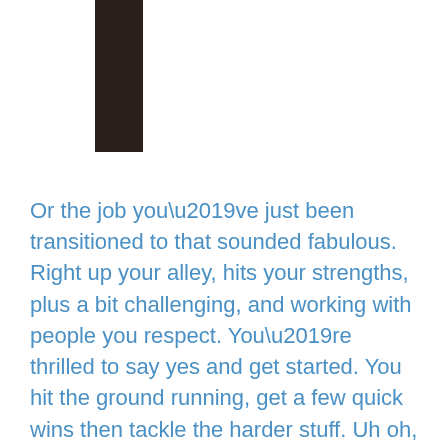[Figure (illustration): A dark brown/black vertical rectangular bar or pillar element, cropped, appearing at the top left area of the page.]
Or the job you’ve just been transitioned to that sounded fabulous. Right up your alley, hits your strengths, plus a bit challenging, and working with people you respect. You’re thrilled to say yes and get started. You hit the ground running, get a few quick wins then tackle the harder stuff. Uh oh, now comes the pile on. They back the truck up, you hear a beep, beep, beep and bam they unload it at your office door. Here’s the rub, you did so well that the senior leadership added more to your plate. They added some long term strategic visioning (not in your wheelhouse)